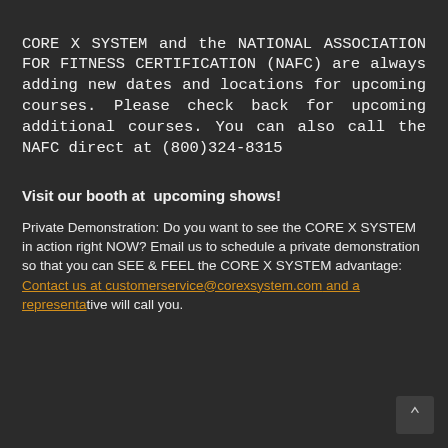CORE X SYSTEM and the NATIONAL ASSOCIATION FOR FITNESS CERTIFICATION (NAFC) are always adding new dates and locations for upcoming courses. Please check back for upcoming additional courses. You can also call the NAFC direct at (800)324-8315
Visit our booth at  upcoming shows!
Private Demonstration: Do you want to see the CORE X SYSTEM in action right NOW? Email us to schedule a private demonstration so that you can SEE & FEEL the CORE X SYSTEM advantage: Contact us at customerservice@corexsystem.com and a representative will call you.